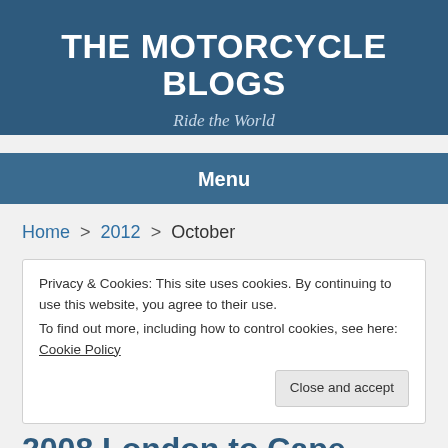THE MOTORCYCLE BLOGS
Ride the World
Menu
Home > 2012 > October
Privacy & Cookies: This site uses cookies. By continuing to use this website, you agree to their use.
To find out more, including how to control cookies, see here: Cookie Policy
Close and accept
2008 London to Cape